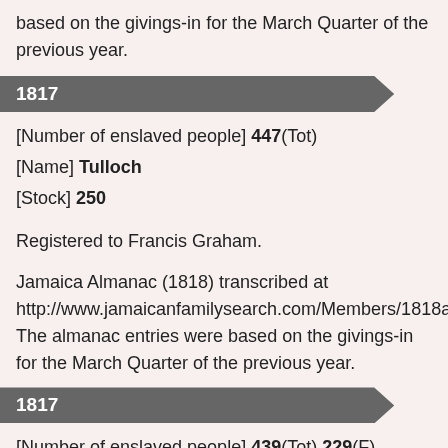based on the givings-in for the March Quarter of the previous year.
1817
[Number of enslaved people] 447(Tot)
[Name] Tulloch
[Stock] 250
Registered to Francis Graham.
Jamaica Almanac (1818) transcribed at http://www.jamaicanfamilysearch.com/Members/1818al02.htm. The almanac entries were based on the givings-in for the March Quarter of the previous year.
1817
[Number of enslaved people] 439(Tot) 229(F) 210(M)
[Name] [no name given]